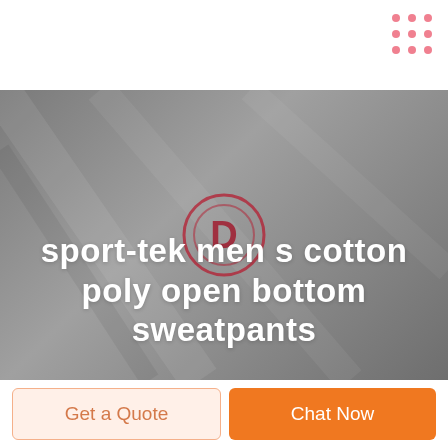[Figure (screenshot): Decorative dot grid pattern (3x3 pink dots) in top right corner]
[Figure (screenshot): Hero image with grey background showing a play button icon overlay. White bold text reads: sport-tek men s cotton poly open bottom sweatpants]
Get a Quote
Chat Now